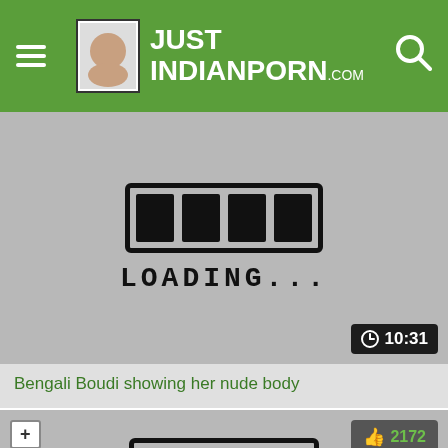JUST INDIANPORN.com
[Figure (screenshot): Video thumbnail showing a loading screen with a loading bar graphic and text LOADING... and duration badge 10:31]
Bengali Boudi showing her nude body
[Figure (screenshot): Second video card with like count 2172 and dislike count 23, and partial loading graphic at bottom]